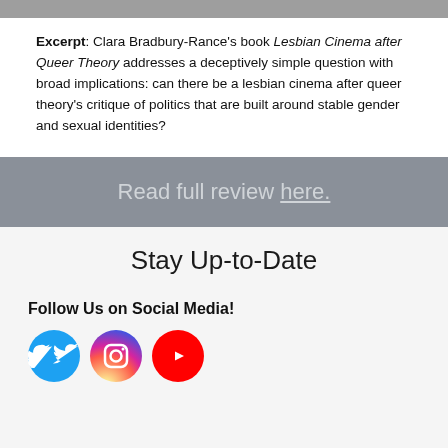Excerpt: Clara Bradbury-Rance's book Lesbian Cinema after Queer Theory addresses a deceptively simple question with broad implications: can there be a lesbian cinema after queer theory's critique of politics that are built around stable gender and sexual identities?
Read full review here.
Stay Up-to-Date
Follow Us on Social Media!
[Figure (illustration): Three social media icons in circles: Twitter (blue), Instagram (gradient pink/purple), YouTube (red)]